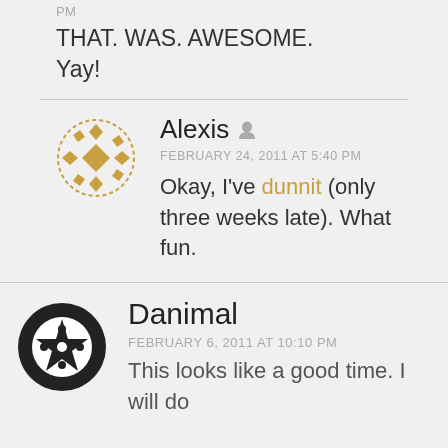PM
THAT. WAS. AWESOME.
Yay!
Alexis
FEBRUARY 24, 2011 AT 5:40 PM
Okay, I've dunnit (only three weeks late). What fun.
Danimal
FEBRUARY 6, 2011 AT 10:10 PM
This looks like a good time. I will do